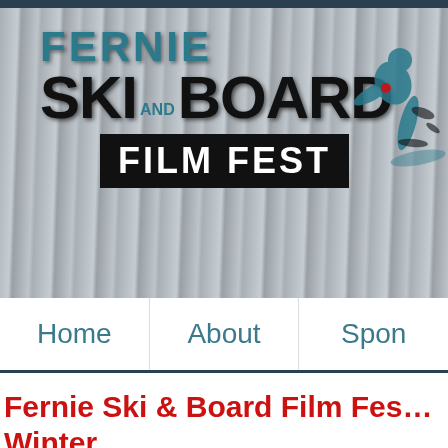[Figure (logo): Fernie Ski and Board Film Fest logo with skier silhouette on a silvery curtain background]
Home | About | Spon...
Fernie Ski & Board Film Fes... Winter
By admin | 29 October, 2021 | Comments Off on Fernie Ski & Board Film Fes...
[Figure (other): Social share buttons: Facebook, Twitter, Pinterest]